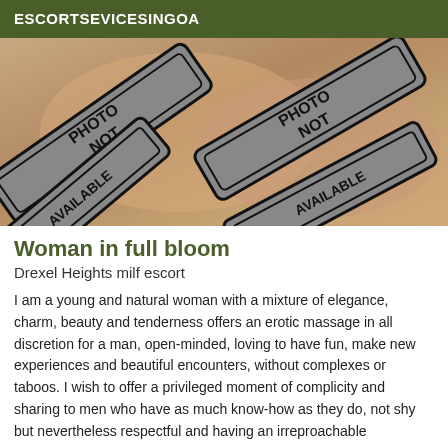ESCORTSEVICESINGOA
[Figure (photo): Photo with 'PHOTO NOT AVAILABLE' stamps overlaid on a skin-toned background, text appearing mirrored/upside-down]
Woman in full bloom
Drexel Heights milf escort
I am a young and natural woman with a mixture of elegance, charm, beauty and tenderness offers an erotic massage in all discretion for a man, open-minded, loving to have fun, make new experiences and beautiful encounters, without complexes or taboos. I wish to offer a privileged moment of complicity and sharing to men who have as much know-how as they do, not shy but nevertheless respectful and having an irreproachable